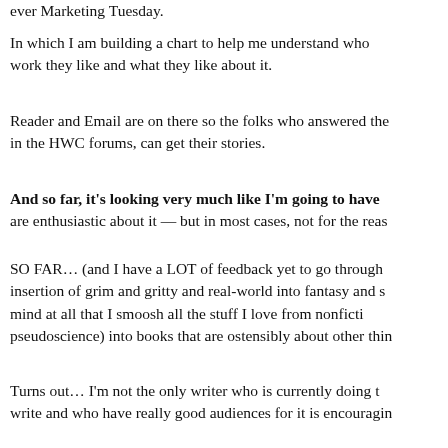ever Marketing Tuesday.
In which I am building a chart to help me understand who work they like and what they like about it.
Reader and Email are on there so the folks who answered the in the HWC forums, can get their stories.
And so far, it's looking very much like I'm going to have are enthusiastic about it — but in most cases, not for the reas
SO FAR… (and I have a LOT of feedback yet to go through insertion of grim and gritty and real-world into fantasy and s mind at all that I smoosh all the stuff I love from nonficti pseudoscience) into books that are ostensibly about other thin
Turns out… I'm not the only writer who is currently doing t write and who have really good audiences for it is encouragin